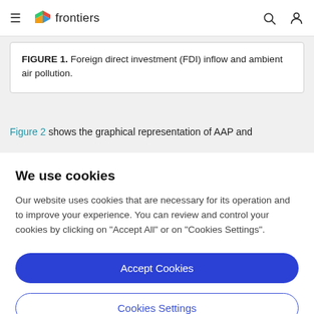frontiers
FIGURE 1. Foreign direct investment (FDI) inflow and ambient air pollution.
Figure 2 shows the graphical representation of AAP and
We use cookies
Our website uses cookies that are necessary for its operation and to improve your experience. You can review and control your cookies by clicking on "Accept All" or on "Cookies Settings".
Accept Cookies
Cookies Settings